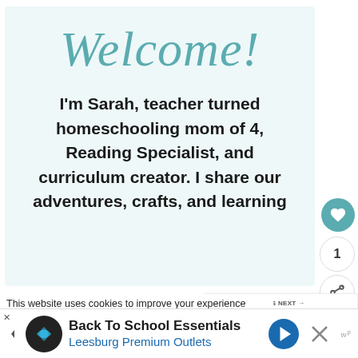[Figure (illustration): Light blue-tinted welcome card with cursive 'Welcome!' text in teal, followed by body text describing Sarah as a teacher turned homeschooling mom of 4, Reading Specialist, and curriculum creator sharing adventures, crafts, and learning.]
I'm Sarah, teacher turned homeschooling mom of 4, Reading Specialist, and curriculum creator. I share our adventures, crafts, and learning
1
WHAT'S NEXT → All About Me Activities for...
This website uses cookies to improve your experience
you're ok with this, but you can opt-out if you wish.
Accept  Read
Back To School Essentials
Leesburg Premium Outlets